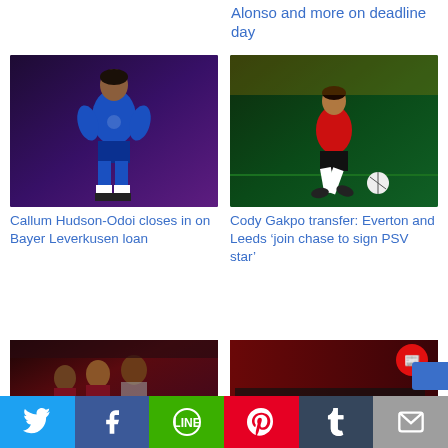Alonso and more on deadline day
[Figure (photo): Callum Hudson-Odoi in Chelsea blue kit]
Callum Hudson-Odoi closes in on Bayer Leverkusen loan
[Figure (photo): Cody Gakpo in PSV red kit dribbling on pitch]
Cody Gakpo transfer: Everton and Leeds ‘join chase to sign PSV star’
[Figure (photo): West Ham players celebrating]
[Figure (screenshot): Breaking News banner with red background and newspaper logo]